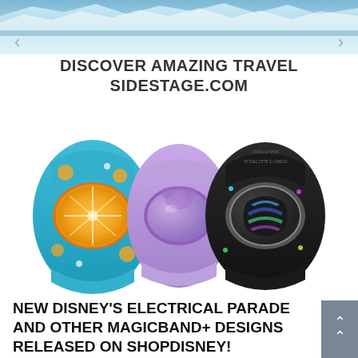[Figure (photo): Top banner area showing icy blue glacier or ice background with left and right navigation arrows]
DISCOVER AMAZING TRAVEL
SIDESTAGE.COM
[Figure (photo): Three Disney MagicBand+ wristbands side by side: left is teal/blue with orange citrus fruit design, center is plain lavender/purple, right is black with Disney's Electrical Parade colorful light design]
NEW DISNEY'S ELECTRICAL PARADE AND OTHER MAGICBAND+ DESIGNS RELEASED ON SHOPDISNEY!